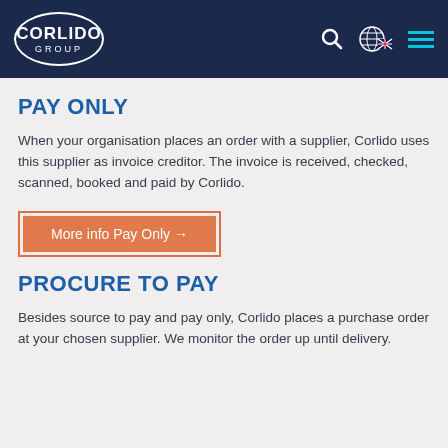[Figure (logo): Corlido Group logo in white oval on dark navy navigation bar, with search icon, globe/UK flag icon, and hamburger menu icon]
PAY ONLY
When your organisation places an order with a supplier, Corlido uses this supplier as invoice creditor. The invoice is received, checked, scanned, booked and paid by Corlido.
More info Pay Only →
PROCURE TO PAY
Besides source to pay and pay only, Corlido places a purchase order at your chosen supplier. We monitor the order up until delivery.